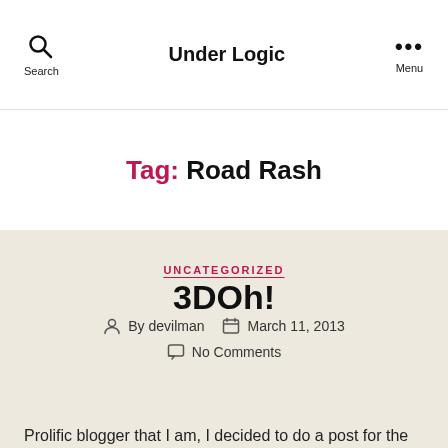Under Logic
Tag: Road Rash
UNCATEGORIZED
3DOh!
By devilman   March 11, 2013   No Comments
Prolific blogger that I am, I decided to do a post for the